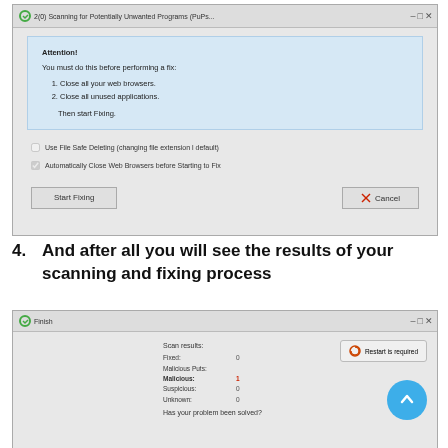[Figure (screenshot): Dialog box titled '2(0) Scanning for Potentially Unwanted Programs (PuPs...' with an attention box listing steps before performing a fix: close web browsers, close unused applications, then start fixing. Two checkboxes and Start Fixing / Cancel buttons.]
4. And after all you will see the results of your scanning and fixing process
[Figure (screenshot): Dialog box titled 'Finish' showing scan results: Fixed: 0, Malicious: 1 (red), Suspicious: 0, Unknown: 0. Has a 'Restart is required' button and 'Has your problem been solved?' text. Blue circle with up arrow in bottom right.]